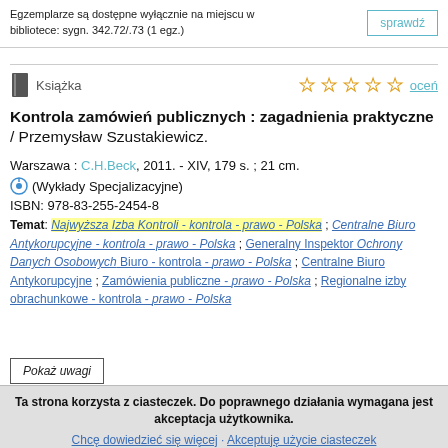Egzemplarze są dostępne wyłącznie na miejscu w bibliotece: sygn. 342.72/.73 (1 egz.)
sprawdź
Książka
Kontrola zamówień publicznych : zagadnienia praktyczne / Przemysław Szustakiewicz.
Warszawa : C.H.Beck, 2011. - XIV, 179 s. ; 21 cm.
(Wykłady Specjalizacyjne)
ISBN: 978-83-255-2454-8
Temat: Najwyższa Izba Kontroli - kontrola - prawo - Polska ; Centralne Biuro Antykorupcyjne - kontrola - prawo - Polska ; Generalny Inspektor Ochrony Danych Osobowych Biuro - kontrola - prawo - Polska ; Centralne Biuro Antykorupcyjne ; Zamówienia publiczne - prawo - Polska ; Regionalne izby obrachunkowe - kontrola - prawo - Polska
Pokaż uwagi
Ta strona korzysta z ciasteczek. Do poprawnego działania wymagana jest akceptacja użytkownika.
Chcę dowiedzieć się więcej · Akceptuję użycie ciasteczek